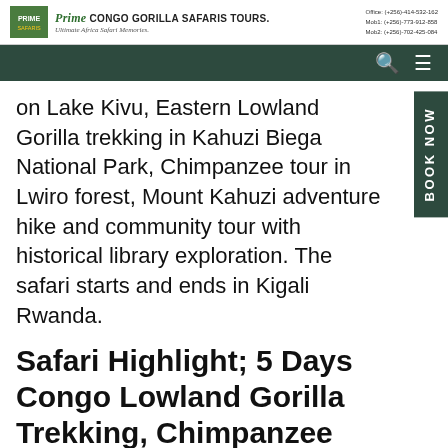[Figure (logo): Prime Congo Gorilla Safaris Tours logo with company name, tagline 'Ultimate Africa Safari Memories', and contact information]
Navigation bar with search and menu icons
on Lake Kivu, Eastern Lowland Gorilla trekking in Kahuzi Biega National Park, Chimpanzee tour in Lwiro forest, Mount Kahuzi adventure hike and community tour with historical library exploration. The safari starts and ends in Kigali Rwanda.
Safari Highlight; 5 Days Congo Lowland Gorilla Trekking, Chimpanzee